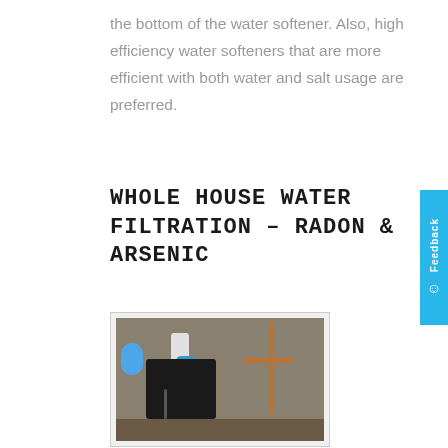the bottom of the water softener. Also, high efficiency water softeners that are more efficient with both water and salt usage are preferred.
WHOLE HOUSE WATER FILTRATION – RADON & ARSENIC
[Figure (photo): Photograph of a basement water filtration system showing a black unit, copper piping, a blue pressure tank, a blue filter canister, and white PVC pipe.]